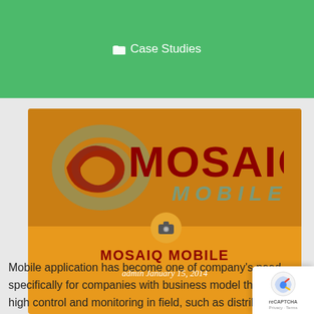Case Studies
[Figure (logo): MOSAIQ MOBILE logo on orange/amber background with dark red text and grey swirl graphic element]
MOSAIQ MOBILE
admin January 15, 2014
Mobile application has become one of company's need, specifically for companies with business model that require high control and monitoring in field, such as distribution company, expedition, pharmaceutical and more, those are